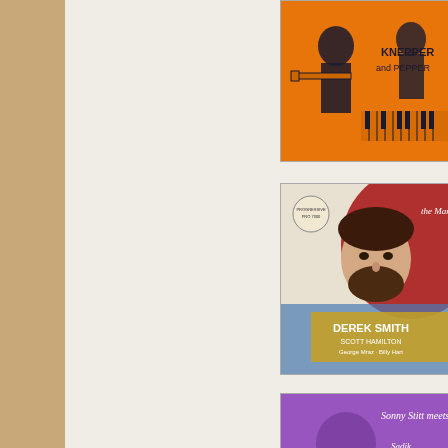[Figure (illustration): Album cover for Knepper and Pepper - orange illustration of jazz musicians playing instruments]
DON F...
Don Fr... Georg...
Audob... High; N...
[Figure (illustration): Album cover for The Man I Love - Derek Smith Quartet, colorful illustrated portrait]
PCD-7...
THE ...
Derek... (d); Di...
The M... Foolis...
[Figure (illustration): Album cover for Sonny Stitt meets Sadik Hakim - purple illustration]
PCD-7...
Sonn...
Sonny... Mitche...
Christe... The Su...